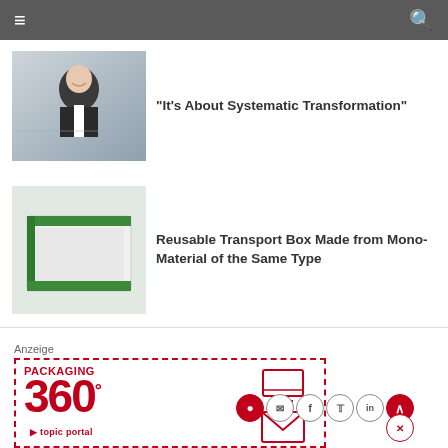Navigation bar with menu and search icons
"It's About Systematic Transformation"
[Figure (photo): Photo of a man in a dark suit smiling, indoor office background]
Reusable Transport Box Made from Mono-Material of the Same Type
[Figure (photo): Photo of a white and green reusable transport box]
Anzeige
[Figure (illustration): PACKAGING 360 topic portal advertisement banner with monitor and envelope icons in red dashed border]
[Figure (infographic): Social media icons row: RSS, email, Facebook, Twitter, LinkedIn, up arrow, Xing]